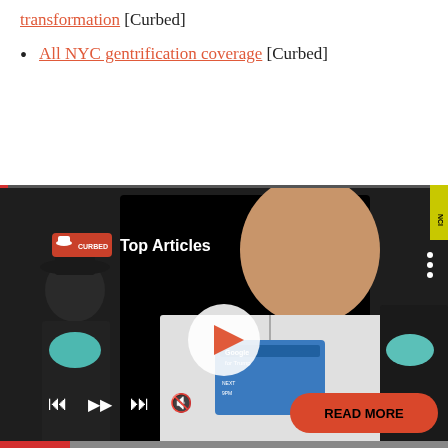transformation [Curbed]
All NYC gentrification coverage [Curbed]
[Figure (screenshot): Embedded video player showing Curbed 'Top Articles' with a photo of a man at what appears to be a political event, with a child in a mask to his left. Controls including play, skip, and mute are visible, as well as a red 'READ MORE' button and progress bar.]